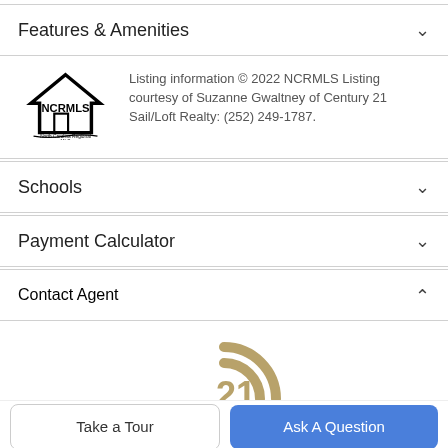Features & Amenities
Listing information © 2022 NCRMLS Listing courtesy of Suzanne Gwaltney of Century 21 Sail/Loft Realty: (252) 249-1787.
Schools
Payment Calculator
Contact Agent
[Figure (logo): Century 21 logo — golden arc with 21 numeral]
Take a Tour
Ask A Question